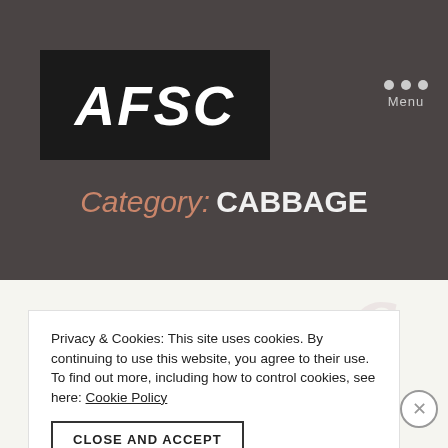[Figure (logo): AFSC logo — white handwritten/grunge-style text on black rectangle background]
Menu
Category: CABBAGE
Privacy & Cookies: This site uses cookies. By continuing to use this website, you agree to their use.
To find out more, including how to control cookies, see here: Cookie Policy
CLOSE AND ACCEPT